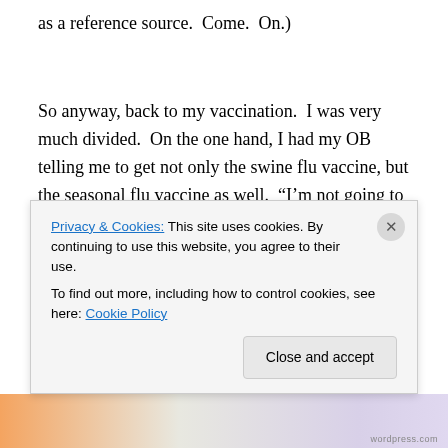as a reference source.  Come.  On.)
So anyway, back to my vaccination.  I was very much divided.  On the one hand, I had my OB telling me to get not only the swine flu vaccine, but the seasonal flu vaccine as well.  “I’m not going to demand that you get these shots,” he said, “but I am going to strongly recommend it.”
On the other hand, I had the onus of internet nay sayers
Privacy & Cookies: This site uses cookies. By continuing to use this website, you agree to their use.
To find out more, including how to control cookies, see here: Cookie Policy